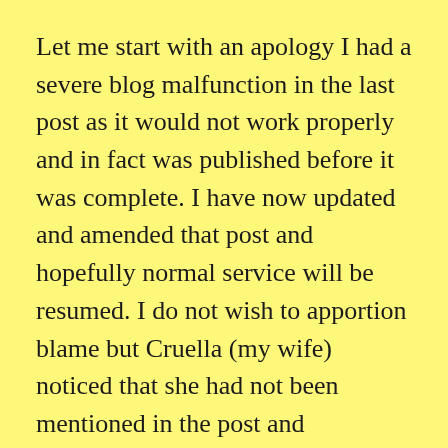Let me start with an apology I had a severe blog malfunction in the last post as it would not work properly and in fact was published before it was complete. I have now updated and amended that post and hopefully normal service will be resumed. I do not wish to apportion blame but Cruella (my wife) noticed that she had not been mentioned in the post and complained vociferously. I stormed off to have a sleep in my garden hammock (more later) and when I awoke from my doze Cruella was standing over me holding a lock of my hair she had cut off along with some nail trimming she had taken. This all may perhaps explain the jinxed post. Anyway enough of this